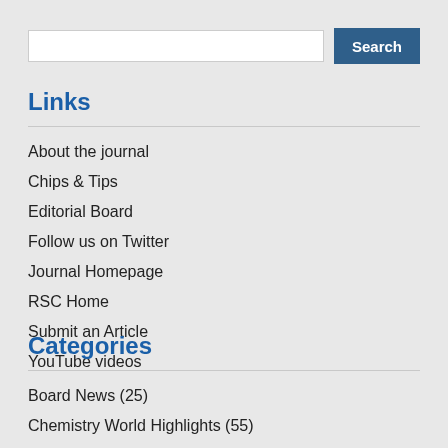Links
About the journal
Chips & Tips
Editorial Board
Follow us on Twitter
Journal Homepage
RSC Home
Submit an Article
YouTube videos
Categories
Board News (25)
Chemistry World Highlights (55)
Competitions (33)
Conferences (73)